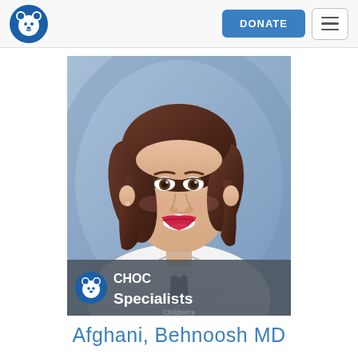CHOC Children's Hospital navigation bar with DONATE button and hamburger menu
[Figure (photo): Professional headshot of Dr. Afghani Behnoosh MD, a woman with brown shoulder-length hair, wearing a white coat and pearl necklace, smiling, against a light blue background. Image has a CHOC Specialists logo overlay at the bottom.]
Afghani, Behnoosh MD